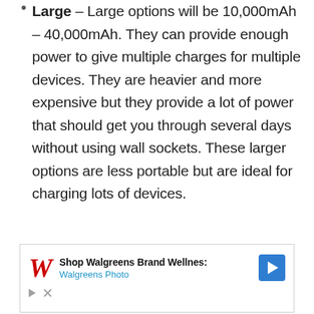Large – Large options will be 10,000mAh – 40,000mAh. They can provide enough power to give multiple charges for multiple devices. They are heavier and more expensive but they provide a lot of power that should get you through several days without using wall sockets. These larger options are less portable but are ideal for charging lots of devices.
[Figure (other): Walgreens advertisement banner showing Walgreens logo, text 'Shop Walgreens Brand Wellnes: Walgreens Photo', navigation arrow icon, play and close controls]